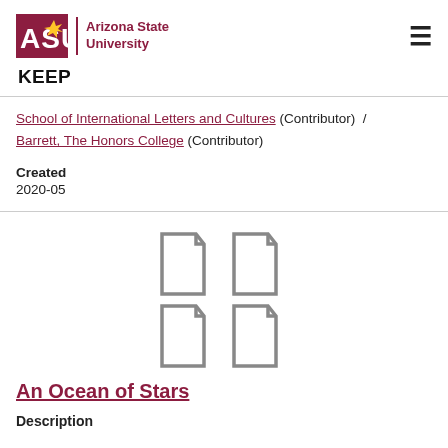[Figure (logo): Arizona State University logo with ASU text and university name]
KEEP
School of International Letters and Cultures (Contributor) / Barrett, The Honors College (Contributor)
Created
2020-05
[Figure (illustration): Four document page icons arranged in a 2x2 grid]
An Ocean of Stars
Description